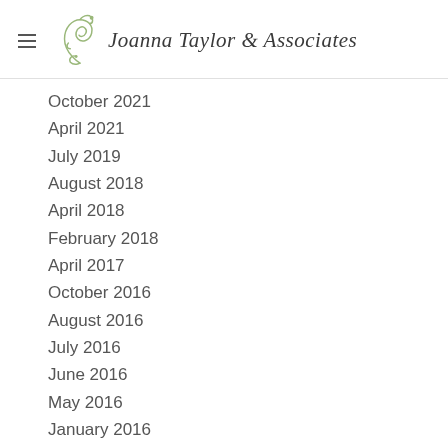Joanna Taylor & Associates
October 2021
April 2021
July 2019
August 2018
April 2018
February 2018
April 2017
October 2016
August 2016
July 2016
June 2016
May 2016
January 2016
October 2015
July 2015
January 2015
October 2014